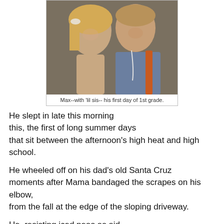[Figure (photo): Two children posing together — a blonde girl on the left and a boy in a blue shirt with orange backpack straps on the right, smiling at the camera.]
Max--with 'lil sis-- his first day of 1st grade.
He slept in late this morning
this, the first of long summer days
that sit between the afternoon’s high heat and high school.
He wheeled off on his dad’s old Santa Cruz
moments after Mama bandaged the scrapes on his elbow,
from the fall at the edge of the sloping driveway.
He, resisting iced peas as aid,
stepped back on the narrow board,
and tacked atop the hot, cracked pavement.
Out of Mama’s sight,
to the club across Nate Whipple Highway
where the pool had just opened.